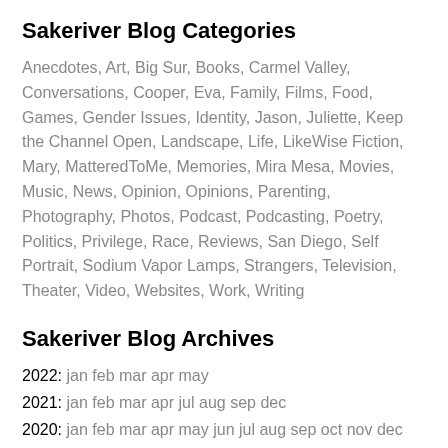Sakeriver Blog Categories
Anecdotes, Art, Big Sur, Books, Carmel Valley, Conversations, Cooper, Eva, Family, Films, Food, Games, Gender Issues, Identity, Jason, Juliette, Keep the Channel Open, Landscape, Life, LikeWise Fiction, Mary, MatteredToMe, Memories, Mira Mesa, Movies, Music, News, Opinion, Opinions, Parenting, Photography, Photos, Podcast, Podcasting, Poetry, Politics, Privilege, Race, Reviews, San Diego, Self Portrait, Sodium Vapor Lamps, Strangers, Television, Theater, Video, Websites, Work, Writing
Sakeriver Blog Archives
2022: jan feb mar apr may
2021: jan feb mar apr jul aug sep dec
2020: jan feb mar apr may jun jul aug sep oct nov dec
2019: jan apr jul aug sep oct nov dec
2018: jan feb apr may jul sep oct nov dec